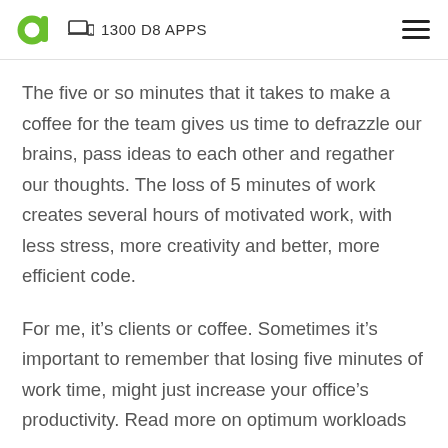1300 D8 APPS
The five or so minutes that it takes to make a coffee for the team gives us time to defrazzle our brains, pass ideas to each other and regather our thoughts. The loss of 5 minutes of work creates several hours of motivated work, with less stress, more creativity and better, more efficient code.
For me, it's clients or coffee. Sometimes it's important to remember that losing five minutes of work time, might just increase your office's productivity. Read more on optimum workloads